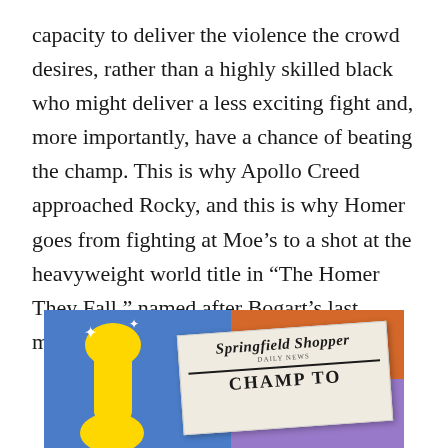capacity to deliver the violence the crowd desires, rather than a highly skilled black who might deliver a less exciting fight and, more importantly, have a chance of beating the champ. This is why Apollo Creed approached Rocky, and this is why Homer goes from fighting at Moe's to a shot at the heavyweight world title in “The Homer They Fall,” named after Bogart’s last movie, which has a similar story.
[Figure (illustration): An illustration from The Simpsons showing a character holding up a newspaper called the Springfield Shopper with a headline starting with 'CHAMP TO...']